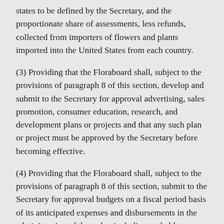states to be defined by the Secretary, and the proportionate share of assessments, less refunds, collected from importers of flowers and plants imported into the United States from each country.
(3) Providing that the Floraboard shall, subject to the provisions of paragraph 8 of this section, develop and submit to the Secretary for approval advertising, sales promotion, consumer education, research, and development plans or projects and that any such plan or project must be approved by the Secretary before becoming effective.
(4) Providing that the Floraboard shall, subject to the provisions of paragraph 8 of this section, submit to the Secretary for approval budgets on a fiscal period basis of its anticipated expenses and disbursements in the administration of the order, including probable costs of advertising, promotion, consumer education, research, and development projects.